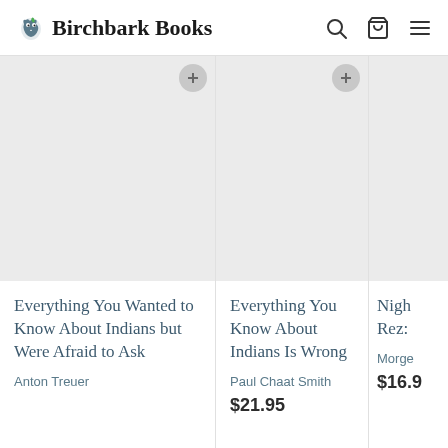Birchbark Books
[Figure (screenshot): Book product card: 'Everything You Wanted to Know About Indians but Were Afraid to Ask' by Anton Treuer, with gray placeholder image]
[Figure (screenshot): Book product card: 'Everything You Know About Indians Is Wrong' by Paul Chaat Smith, $21.95, with gray placeholder image]
[Figure (screenshot): Partial book product card showing 'Nigh... Rez:' and 'Morge...' and price '$16.9...' with gray placeholder image]